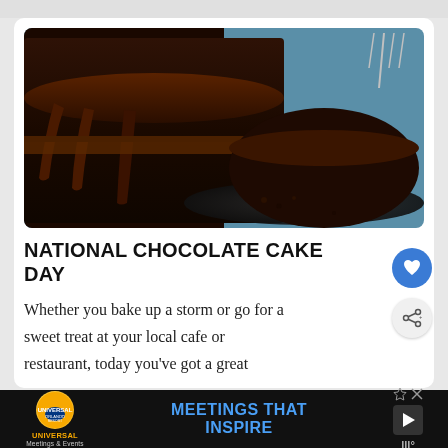[Figure (photo): Close-up photo of a chocolate layer cake with glossy chocolate ganache dripping down the sides, sliced to show the interior layers, served on a dark plate on a blue surface with a fork in the background.]
NATIONAL CHOCOLATE CAKE DAY
Whether you bake up a storm or go for a sweet treat at your local cafe or restaurant, today you've got a great
[Figure (infographic): Advertisement banner for Universal Orlando Resort Meetings & Events with tagline MEETINGS THAT INSPIRE on black background.]